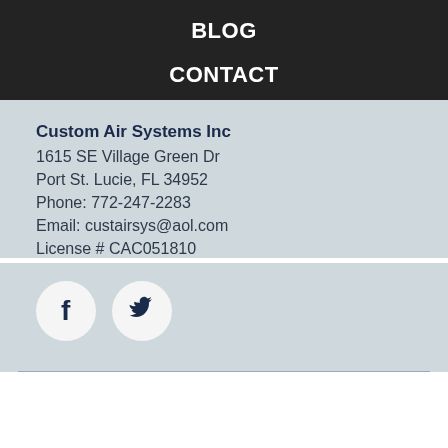BLOG
CONTACT
Custom Air Systems Inc
1615 SE Village Green Dr
Port St. Lucie, FL 34952
Phone: 772-247-2283
Email: custairsys@aol.com
License # CAC051810
[Figure (logo): Facebook and Twitter social media icons in circular white buttons on light blue background]